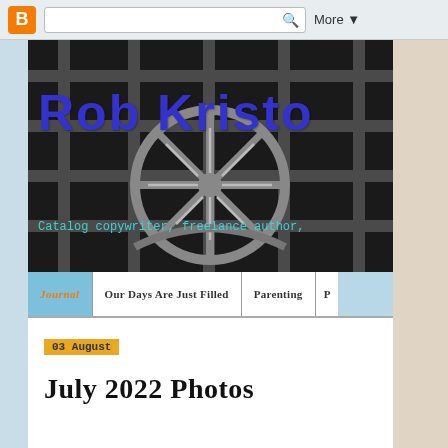Blogger navigation bar with search and More button
[Figure (screenshot): Blog header banner with black and white circular iron grate/wheel photo. Text overlay: 'Rob Kristo' in bold blue handwritten font. Subtitle: 'Catalog copywriter, freelance author,' in cyan monospace font.]
Navigation tabs: Journal | Our Days Are Just Filled | Parenting | P...
03 August
July 2022 Photos